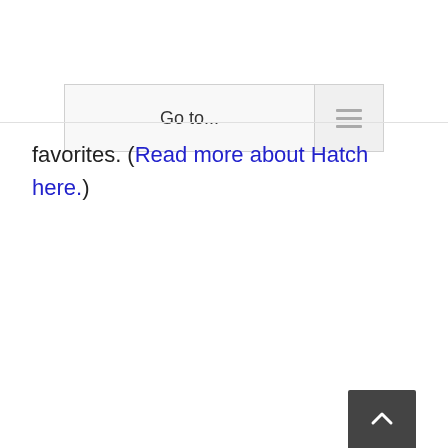Go to...
favorites. (Read more about Hatch here.)